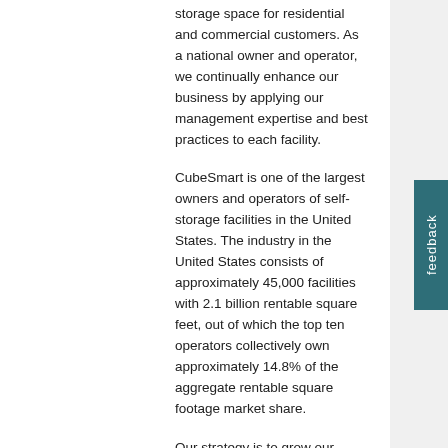storage space for residential and commercial customers. As a national owner and operator, we continually enhance our business by applying our management expertise and best practices to each facility.
CubeSmart is one of the largest owners and operators of self-storage facilities in the United States. The industry in the United States consists of approximately 45,000 facilities with 2.1 billion rentable square feet, out of which the top ten operators collectively own approximately 14.8% of the aggregate rentable square footage market share.
Our strategy is to grow our property portfolio by being a consolidator in the highly fragmented self-storage industry. We believe these acquisitions will offer the Company economies of scale by spreading our management expertise and operating efficiency across a larger portfolio. We look to maximize the cash flow from our facilities by increasing rents, increasing occupancy levels, controlling operating expenses, and expanding and improving the facilities.
This position will be responsible for the following: